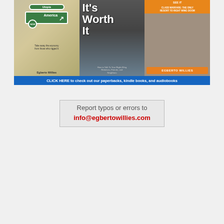[Figure (illustration): Advertisement banner showing three book covers by Egberto Willies: left book with road sign 'Utopia/Now/America' and text 'Take away the economy from those who rigged it'; middle book titled 'It's Worth It' with subtitle 'How to Talk To Your Right-Wing Relatives, Friends, and Neighbors'; right book titled 'See It: Class Warfare: The Only Resort To Right Wing Doom' by Egberto Willies. Below the covers is a blue banner reading 'CLICK HERE to check out our paperbacks, kindle books, and audiobooks'.]
Report typos or errors to
info@egbertowillies.com